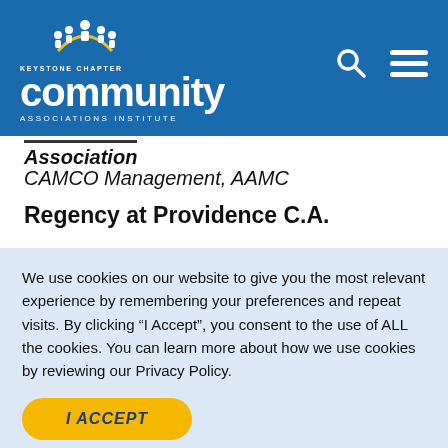[Figure (logo): Keystone Chapter Community Associations Institute logo with white figures icon above text on blue background, with search and menu icons on right]
Association
CAMCO Management, AAMC
Regency at Providence C.A.
We use cookies on our website to give you the most relevant experience by remembering your preferences and repeat visits. By clicking “I Accept”, you consent to the use of ALL the cookies. You can learn more about how we use cookies by reviewing our Privacy Policy.
I ACCEPT